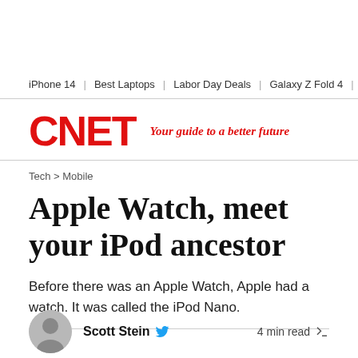iPhone 14 | Best Laptops | Labor Day Deals | Galaxy Z Fold 4 | Surf
[Figure (logo): CNET logo in red bold text with tagline 'Your guide to a better future' in red italic]
Tech > Mobile
Apple Watch, meet your iPod ancestor
Before there was an Apple Watch, Apple had a watch. It was called the iPod Nano.
Scott Stein
4 min read